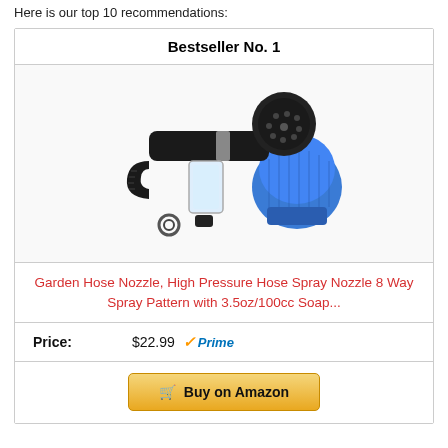Here is our top 10 recommendations:
Bestseller No. 1
[Figure (photo): Product photo showing a black garden hose spray nozzle with soap dispenser bottle, a blue microfiber wash mitt, and hose attachment accessories on white background]
Garden Hose Nozzle, High Pressure Hose Spray Nozzle 8 Way Spray Pattern with 3.5oz/100cc Soap...
Price: $22.99 ✓Prime
🛒 Buy on Amazon